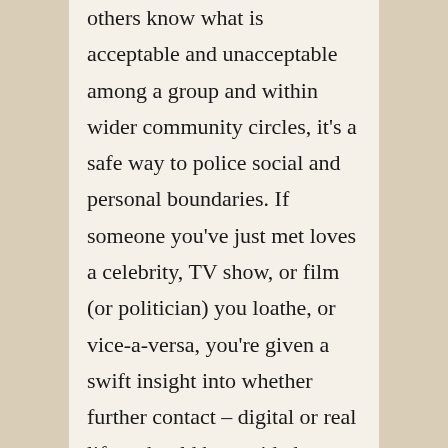others know what is acceptable and unacceptable among a group and within wider community circles, it's a safe way to police social and personal boundaries. If someone you've just met loves a celebrity, TV show, or film (or politician) you loathe, or vice-a-versa, you're given a swift insight into whether further contact – digital or real life – should be avoided or pursued. Secondly, celebrity gossip is also an anodyne social lubricant.